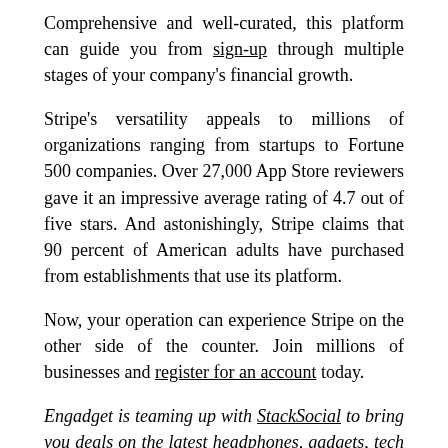Comprehensive and well-curated, this platform can guide you from sign-up through multiple stages of your company's financial growth.
Stripe's versatility appeals to millions of organizations ranging from startups to Fortune 500 companies. Over 27,000 App Store reviewers gave it an impressive average rating of 4.7 out of five stars. And astonishingly, Stripe claims that 90 percent of American adults have purchased from establishments that use its platform.
Now, your operation can experience Stripe on the other side of the counter. Join millions of businesses and register for an account today.
Engadget is teaming up with StackSocial to bring you deals on the latest headphones, gadgets, tech toys and tutorials. This post does not constitute editorial endorsement, and we earn a portion of all sales. If you have any questions about the products you see here or previous purchases, please contact StackSocial support here.